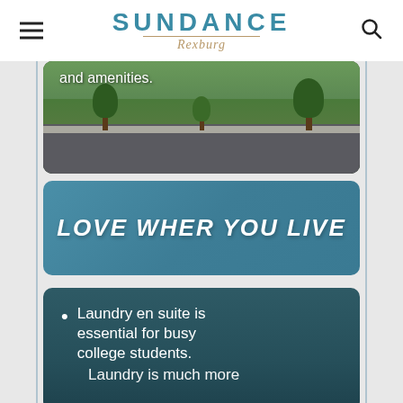Sundance Rexburg — navigation header with hamburger menu and search icon
[Figure (photo): Aerial or street-level rendering of a residential neighborhood with trees and road, partially visible with text overlay reading 'and amenities.']
and amenities.
LOVE WHER YOU LIVE
Laundry en suite is essential for busy college students.
Laundry is much more...